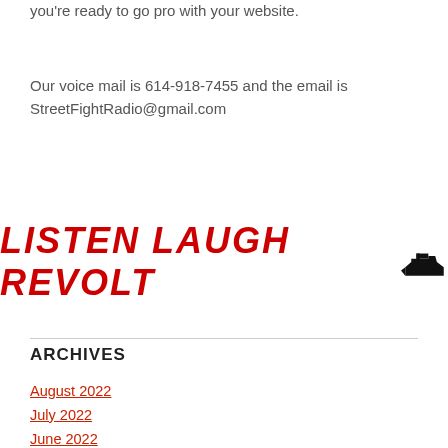you're ready to go pro with your website.
Our voice mail is 614-918-7455 and the email is StreetFightRadio@gmail.com
[Figure (logo): listen laugh revolt logo in red bold italic text with black anvil icon]
ARCHIVES
August 2022
July 2022
June 2022
May 2022